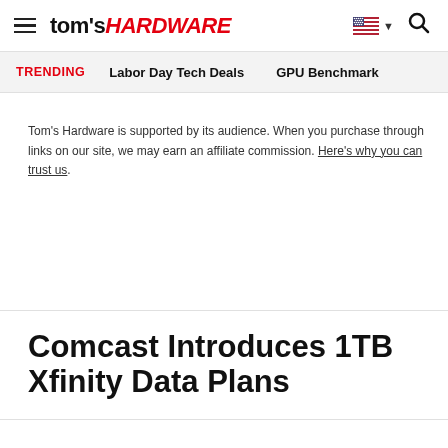tom's HARDWARE
TRENDING   Labor Day Tech Deals   GPU Benchmark
Tom's Hardware is supported by its audience. When you purchase through links on our site, we may earn an affiliate commission. Here's why you can trust us.
Comcast Introduces 1TB Xfinity Data Plans